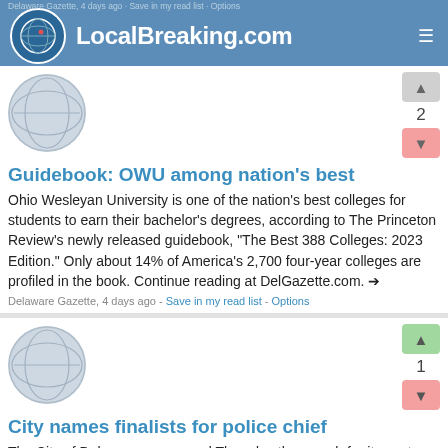LocalBreaking.com
Guidebook: OWU among nation’s best
Ohio Wesleyan University is one of the nation’s best colleges for students to earn their bachelor’s degrees, according to The Princeton Review’s newly released guidebook, “The Best 388 Colleges: 2023 Edition.” Only about 14% of America’s 2,700 four-year colleges are profiled in the book. Continue reading at DelGazette.com.
Delaware Gazette, 4 days ago - Save in my read list - Options
City names finalists for police chief
The City of Delaware announced Thursday the search for its next police chief has been narrowed down to two candidates: Mark McDonough and Adam Moore. Continue reading at DelGazette.com.